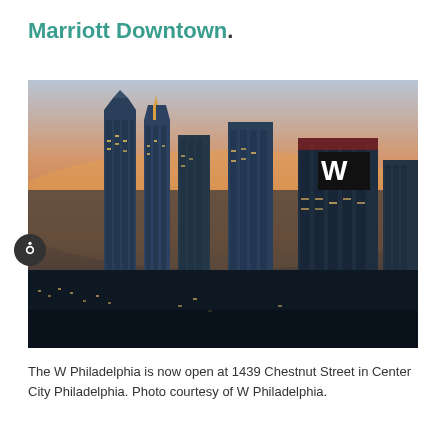Marriott Downtown.
[Figure (photo): Aerial twilight/dusk photograph of Philadelphia city skyline showing skyscrapers including a building with a large illuminated W logo (W Hotel) on the right side. The sky is orange and blue gradient at sunset. Buildings are lit with warm lights.]
The W Philadelphia is now open at 1439 Chestnut Street in Center City Philadelphia. Photo courtesy of W Philadelphia.